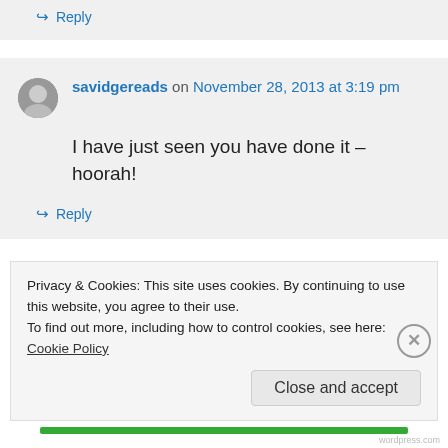↪ Reply
savidgereads on November 28, 2013 at 3:19 pm
I have just seen you have done it – hoorah!
↪ Reply
Privacy & Cookies: This site uses cookies. By continuing to use this website, you agree to their use. To find out more, including how to control cookies, see here: Cookie Policy
Close and accept